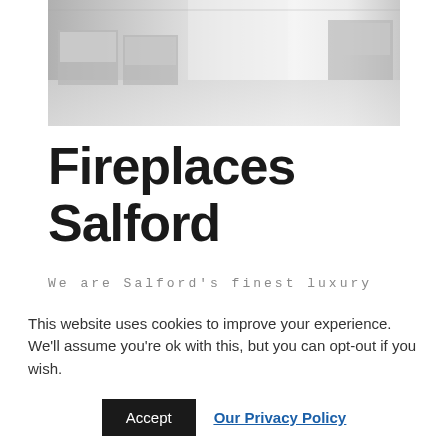[Figure (photo): Interior of a fireplace and wood-burning stoves showroom, showing display units and a bright, spacious floor.]
Fireplaces Salford
We are Salford's finest luxury fireplace and wood-burning stoves showroom. Come and browse through our huge range
This website uses cookies to improve your experience. We'll assume you're ok with this, but you can opt-out if you wish.
Accept  Our Privacy Policy